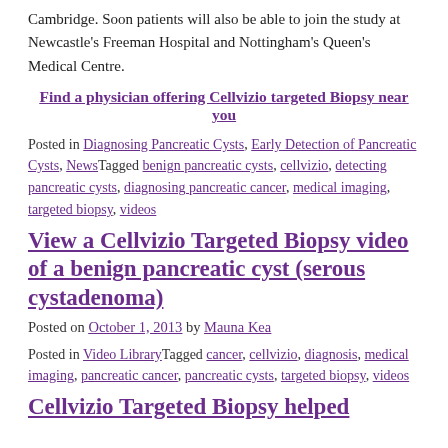Cambridge. Soon patients will also be able to join the study at Newcastle's Freeman Hospital and Nottingham's Queen's Medical Centre.
Find a physician offering Cellvizio targeted Biopsy near you
Posted in Diagnosing Pancreatic Cysts, Early Detection of Pancreatic Cysts, NewsTagged benign pancreatic cysts, cellvizio, detecting pancreatic cysts, diagnosing pancreatic cancer, medical imaging, targeted biopsy, videos
View a Cellvizio Targeted Biopsy video of a benign pancreatic cyst (serous cystadenoma)
Posted on October 1, 2013 by Mauna Kea
Posted in Video LibraryTagged cancer, cellvizio, diagnosis, medical imaging, pancreatic cancer, pancreatic cysts, targeted biopsy, videos
Cellvizio Targeted Biopsy helped